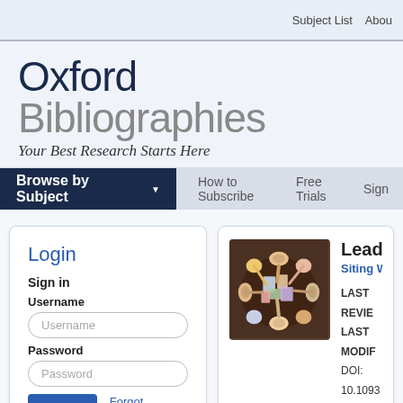Subject List  About
Oxford Bibliographies — Your Best Research Starts Here
Browse by Subject  How to Subscribe  Free Trials  Sign
Login
Sign in
Username
Password
Forgot password?
[Figure (photo): Overhead view of people sitting in a circle reading books]
Leader...
Siting War...
LAST REVIE...
LAST MODIF...
DOI: 10.1093...